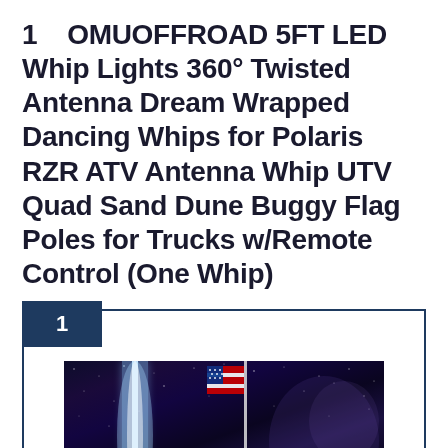1    OMUOFFROAD 5FT LED Whip Lights 360° Twisted Antenna Dream Wrapped Dancing Whips for Polaris RZR ATV Antenna Whip UTV Quad Sand Dune Buggy Flag Poles for Trucks w/Remote Control (One Whip)
[Figure (photo): Photo of an LED whip light and an American flag against a dark night sky with stars/Milky Way visible. The whip emits bright blue-white light.]